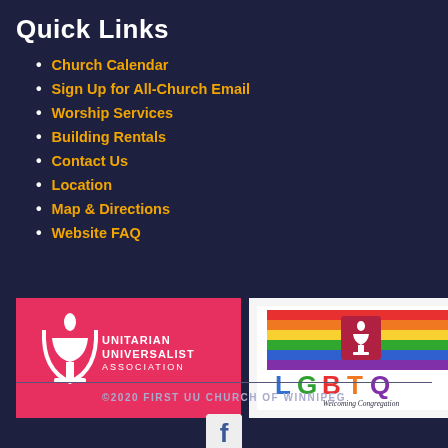Quick Links
Church Calendar
Sign Up for All-Church Email
Worship Services
Building Rentals
Contact Us
Location
Map & Directions
Website FAQ
[Figure (logo): Unitarian Universalist Association logo — red/pink background with white chalice flame icon and white text reading UNITARIAN UNIVERSALIST ASSOCIATION]
[Figure (logo): LGBTQ Welcoming Congregation logo — white background with rainbow stripes and UU chalice icon above large colorful letters LGBTQ, subtitle Welcoming Congregation]
©2020 FIRST UU CHURCH OF WINNIPEG
[Figure (logo): Facebook logo icon — white F on blue square background]